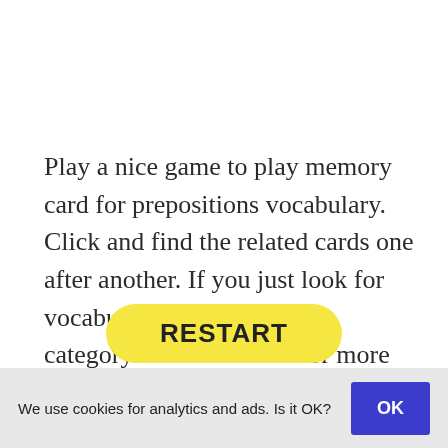Play a nice game to play memory card for prepositions vocabulary. Click and find the related cards one after another. If you just look for vocabulary activities of this category then click here for more about prepositions in English.
[Figure (other): Yellow rounded rectangle button with bold text RESTART]
We use cookies for analytics and ads. Is it OK?  OK